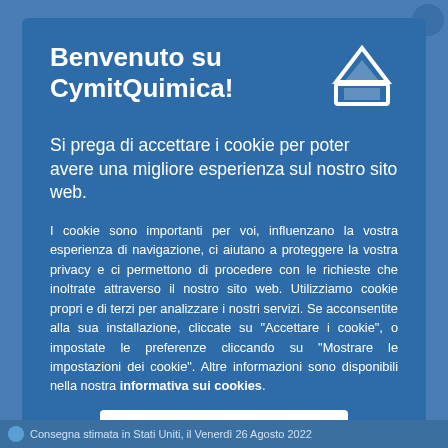Benvenuto su CymitQuimica!
Si prega di accettare i cookie per poter avere una migliore esperienza sul nostro sito web.
I cookie sono importanti per voi, influenzano la vostra esperienza di navigazione, ci aiutano a proteggere la vostra privacy e ci permettono di procedere con le richieste che inoltrate attraverso il nostro sito web. Utilizziamo cookie propri e di terzi per analizzare i nostri servizi. Se acconsentite alla sua installazione, cliccate su "Accettare i cookie", o impostate le preferenze cliccando su "Mostrare le impostazioni dei cookie". Altre informazioni sono disponibili nella nostra informativa sui cookies.
Accettare i cookie
Consegna stimata in Stati Uniti, il Venerdì 26 Agosto 2022